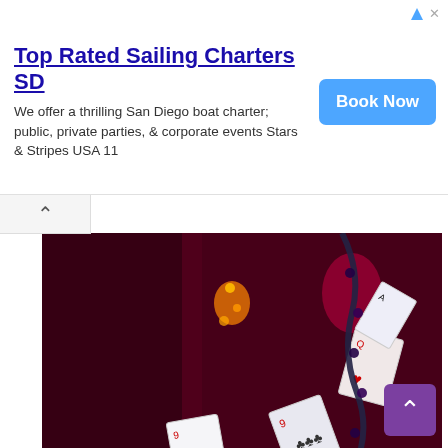[Figure (advertisement): Ad banner for Top Rated Sailing Charters SD with Book Now button]
[Figure (photo): Dark room with playing cards suspended in the air, lit with red and orange lights, Halloween-themed decoration scene]
There are, of course, Halloween events to be found throughout the San Francisco Bay Area, most notably, Halloween Haunt at California's Great America and Fright Fest at Six Flags Discovery Kingdom. Whereas these